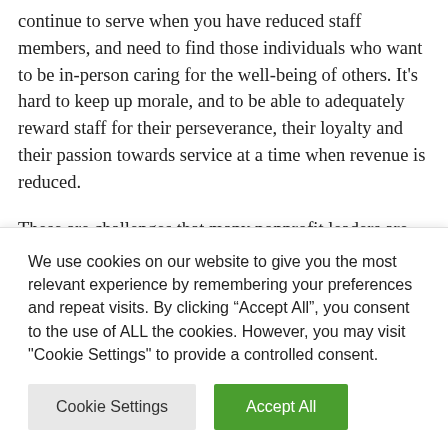continue to serve when you have reduced staff members, and need to find those individuals who want to be in-person caring for the well-being of others. It's hard to keep up morale, and to be able to adequately reward staff for their perseverance, their loyalty and their passion towards service at a time when revenue is reduced.
These are challenges that many nonprofit leaders are facing, along with staying creative and able to turn on a dime to meet the needs of the community as they
We use cookies on our website to give you the most relevant experience by remembering your preferences and repeat visits. By clicking “Accept All”, you consent to the use of ALL the cookies. However, you may visit "Cookie Settings" to provide a controlled consent.